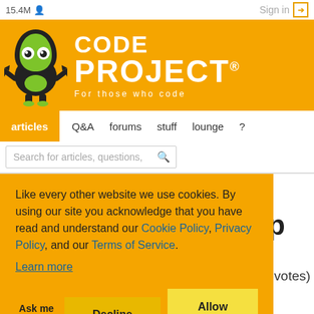15.4M  Sign in
[Figure (logo): CodeProject logo: green alien mascot with CodeProject text and tagline 'For those who code']
articles  Q&A  forums  stuff  lounge  ?
Search for articles, questions,
e.js- o app
: 5.00/5 (3 votes)
Like every other website we use cookies. By using our site you acknowledge that you have read and understand our Cookie Policy, Privacy Policy, and our Terms of Service. Learn more
Ask me later  Decline  Allow cookies